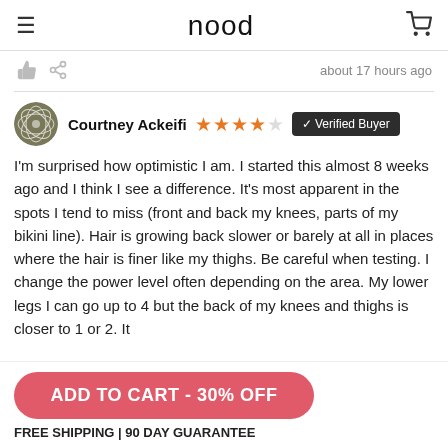nood
about 17 hours ago
Courtney Ackeifi ★★★★☆ ✓ Verified Buyer
I'm surprised how optimistic I am. I started this almost 8 weeks ago and I think I see a difference. It's most apparent in the spots I tend to miss (front and back my knees, parts of my bikini line). Hair is growing back slower or barely at all in places where the hair is finer like my thighs. Be careful when testing. I change the power level often depending on the area. My lower legs I can go up to 4 but the back of my knees and thighs is closer to 1 or 2. It
ADD TO CART - 30% OFF
FREE SHIPPING | 90 DAY GUARANTEE